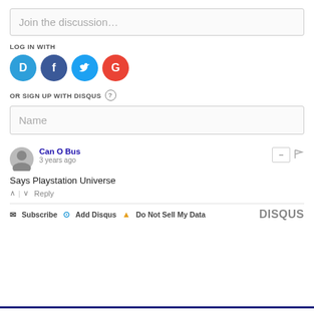Join the discussion…
LOG IN WITH
[Figure (illustration): Four social login icons: Disqus (blue circle with D), Facebook (dark blue circle with f), Twitter (light blue circle with bird), Google (red circle with G)]
OR SIGN UP WITH DISQUS ?
Name
Can O Bus
3 years ago
Says Playstation Universe
^ | v Reply
Subscribe  Add Disqus  Do Not Sell My Data  DISQUS